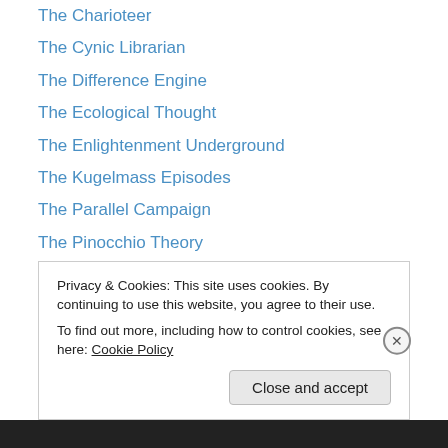The Charioteer
The Cynic Librarian
The Difference Engine
The Ecological Thought
The Enlightenment Underground
The Kugelmass Episodes
The Parallel Campaign
The Pinocchio Theory
The Psychoanalytic Field
The Twins Shadow
The Valve
The Whim
the.aetet.us
Privacy & Cookies: This site uses cookies. By continuing to use this website, you agree to their use.
To find out more, including how to control cookies, see here: Cookie Policy